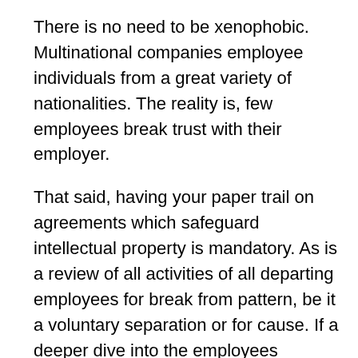There is no need to be xenophobic. Multinational companies employee individuals from a great variety of nationalities. The reality is, few employees break trust with their employer.
That said, having your paper trail on agreements which safeguard intellectual property is mandatory. As is a review of all activities of all departing employees for break from pattern, be it a voluntary separation or for cause. If a deeper dive into the employees activities is warranted, make sure to look for any sudden increase in 403 errors – or similar (caused by attempts to access unauthorized data). Verify the complete inventory of all storage devices which the employee may